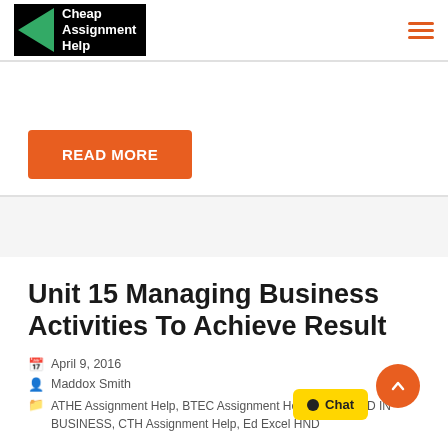[Figure (logo): Cheap Assignment Help logo — black background, green triangle, white text]
READ MORE
Unit 15 Managing Business Activities To Achieve Result
April 9, 2016
Maddox Smith
ATHE Assignment Help, BTEC Assignment Help, BTEC HND IN BUSINESS, CTH Assignment Help, Ed Excel HND…